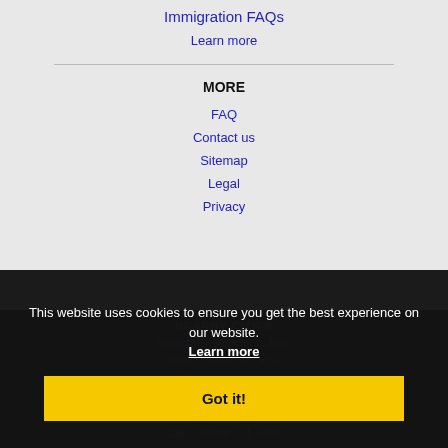Immigration FAQs
Learn more
MORE
FAQ
Contact us
Sitemap
Legal
Privacy
NEARBY CITIES
Arlington Heights, IL Jobs
Battle Creek, MI Jobs
Berwyn, IL Jobs
Bolingbrook, IL Jobs
Buffalo Grove, IL Jobs
Carol Stream, IL Jobs
This website uses cookies to ensure you get the best experience on our website. Learn more
Got it!